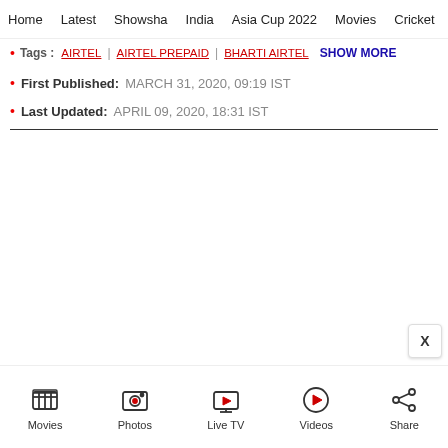Home | Latest | Showsha | India | Asia Cup 2022 | Movies | Cricket
Tags: AIRTEL | AIRTEL PREPAID | BHARTI AIRTEL  SHOW MORE
First Published: MARCH 31, 2020, 09:19 IST
Last Updated: APRIL 09, 2020, 18:31 IST
Movies | Photos | Live TV | Videos | Share